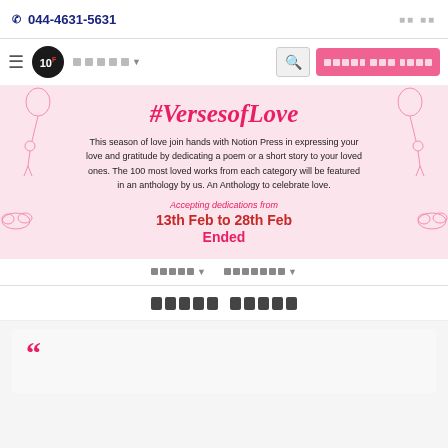044-4631-5631
[Figure (screenshot): Website navigation bar with logo, menu items, search button and publish button]
[Figure (infographic): #VersesofLove banner with pink balloon decorations, contest description, and date range]
This season of love join hands with Notion Press in expressing your love and gratitude by dedicating a poem or a short story to your loved ones. The 100 most loved works from each category will be featured in an anthology by us. An Anthology to celebrate love.
Accepting dedications from
13th Feb to 28th Feb
Ended
[Filter dropdowns in non-latin script]
[Section title in non-latin script]
[Quote card with opening quotation mark]